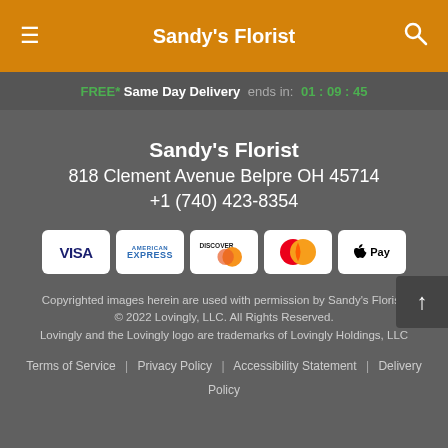Sandy's Florist
FREE* Same Day Delivery ends in: 01:09:45
Sandy's Florist
818 Clement Avenue Belpre OH 45714
+1 (740) 423-8354
[Figure (logo): Payment method icons: VISA, American Express, Discover, Mastercard, Apple Pay]
Copyrighted images herein are used with permission by Sandy's Florist.
© 2022 Lovingly, LLC. All Rights Reserved.
Lovingly and the Lovingly logo are trademarks of Lovingly Holdings, LLC
Terms of Service | Privacy Policy | Accessibility Statement | Delivery Policy